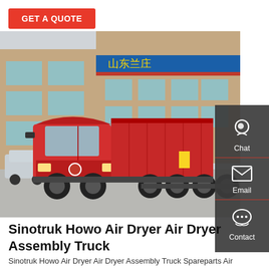GET A QUOTE
[Figure (photo): A large red Sinotruk Howo dump truck parked in an industrial yard in front of a building with Chinese signage. The truck has a raised red dump bed and multiple rear axles.]
Sinotruk Howo Air Dryer Air Dryer Assembly Truck
Sinotruk Howo Air Dryer Air Dryer Assembly Truck Spareparts Air Drying Tank Wg9000360521, Find